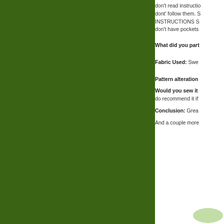[Figure (photo): Large green rectangle occupying the left portion of the page, appearing to be a cropped photo with a dark green background.]
don't read instructio... dont' follow them. S... INSTRUCTIONS S... don't have pockets...
What did you part...
Fabric Used: Swe...
Pattern alteration...
Would you sew it... do recommend it if...
Conclusion: Grea...
And a couple more...
[Figure (photo): Small partial photo visible at the bottom right corner with a green tinted element.]